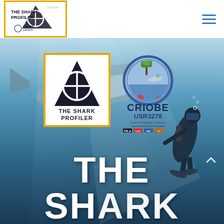[Figure (logo): The Shark Profiler logo with shark fin and crosshair, gold border, CRIOBE USR3278 text, in nav bar]
[Figure (other): Hamburger menu icon (three horizontal lines) in teal/blue color]
[Figure (photo): Full-width hero image of a scuba diver underwater with a shark, blue water background]
[Figure (logo): The Shark Profiler large logo: shark fin with crosshair, text THE SHARK PROFILER, gold border, white background]
[Figure (logo): CRIOBE USR3278 circular logo with palm tree, shark, coral, text Centre de Recherches Insulaires et Observatoire de l'Environnement, PSL CNRS logos]
THE SHARK